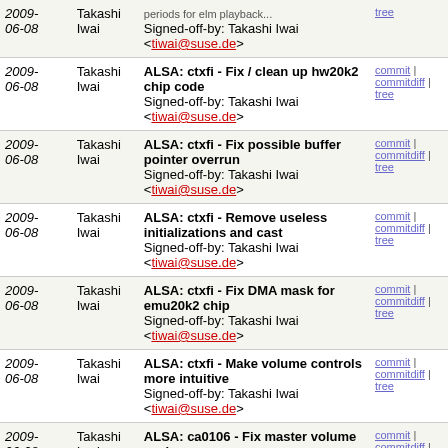| Date | Author | Commit | Links |
| --- | --- | --- | --- |
| 2009-06-08 | Takashi Iwai | ALSA: ctxfi - Fix / clean up hw20k2 chip code
Signed-off-by: Takashi Iwai <tiwai@suse.de> | commit | commitdiff | tree |
| 2009-06-08 | Takashi Iwai | ALSA: ctxfi - Fix possible buffer pointer overrun
Signed-off-by: Takashi Iwai <tiwai@suse.de> | commit | commitdiff | tree |
| 2009-06-08 | Takashi Iwai | ALSA: ctxfi - Remove useless initializations and cast
Signed-off-by: Takashi Iwai <tiwai@suse.de> | commit | commitdiff | tree |
| 2009-06-08 | Takashi Iwai | ALSA: ctxfi - Fix DMA mask for emu20k2 chip
Signed-off-by: Takashi Iwai <tiwai@suse.de> | commit | commitdiff | tree |
| 2009-06-08 | Takashi Iwai | ALSA: ctxfi - Make volume controls more intuitive
Signed-off-by: Takashi Iwai <tiwai@suse.de> | commit | commitdiff | tree |
| 2009-06-08 | Takashi Iwai | ALSA: ca0106 - Fix master volume scale
Signed-off-by: Takashi Iwai <tiwai@suse.de> | commit | commitdiff | tree |
| 2009-06-08 | Takashi Iwai | ALSA: ctxfi - Optimize the native timer handling using... | commit | commitdiff | tree |